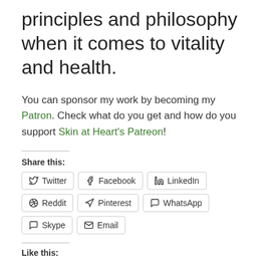principles and philosophy when it comes to vitality and health.
You can sponsor my work by becoming my Patron. Check what do you get and how do you support Skin at Heart's Patreon!
Share this:
Twitter | Facebook | LinkedIn | Reddit | Pinterest | WhatsApp | Skype | Email
Like this: